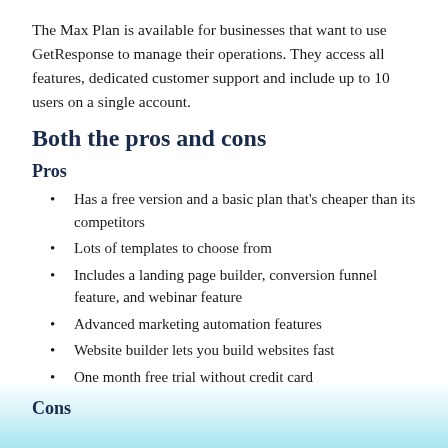The Max Plan is available for businesses that want to use GetResponse to manage their operations. They access all features, dedicated customer support and include up to 10 users on a single account.
Both the pros and cons
Pros
Has a free version and a basic plan that's cheaper than its competitors
Lots of templates to choose from
Includes a landing page builder, conversion funnel feature, and webinar feature
Advanced marketing automation features
Website builder lets you build websites fast
One month free trial without credit card
Cons